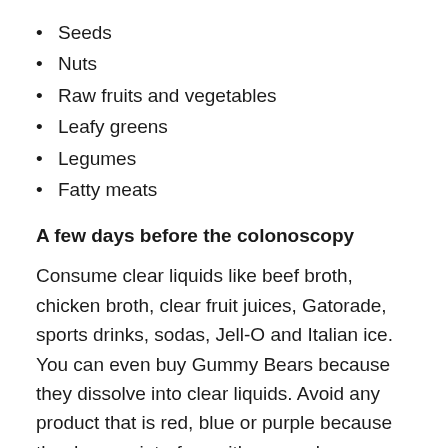Seeds
Nuts
Raw fruits and vegetables
Leafy greens
Legumes
Fatty meats
A few days before the colonoscopy
Consume clear liquids like beef broth, chicken broth, clear fruit juices, Gatorade, sports drinks, sodas, Jell-O and Italian ice. You can even buy Gummy Bears because they dissolve into clear liquids. Avoid any product that is red, blue or purple because the dye can interfere with your colonoscopy results.
Thoroughly read the instructions in your prep